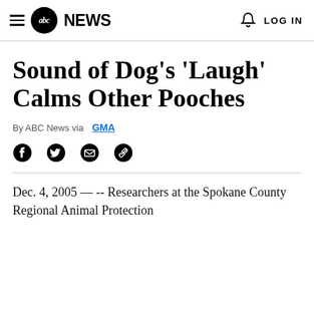abc NEWS  LOG IN
Sound of Dog's 'Laugh' Calms Other Pooches
By ABC News via GMA
Dec. 4, 2005 &#151; -- Researchers at the Spokane County Regional Animal Protection
[Figure (other): Social sharing icons: Facebook, Twitter, Email, Link]